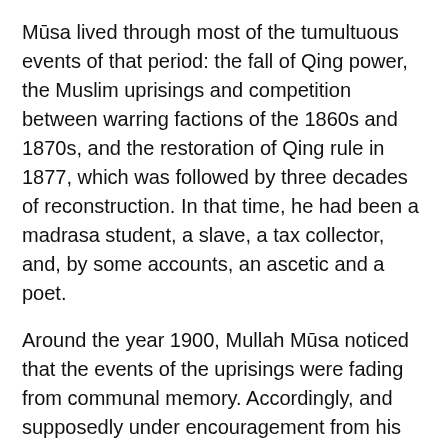Mūsa lived through most of the tumultuous events of that period: the fall of Qing power, the Muslim uprisings and competition between warring factions of the 1860s and 1870s, and the restoration of Qing rule in 1877, which was followed by three decades of reconstruction. In that time, he had been a madrasa student, a slave, a tax collector, and, by some accounts, an ascetic and a poet.
Around the year 1900, Mullah Mūsa noticed that the events of the uprisings were fading from communal memory. Accordingly, and supposedly under encouragement from his friends, he undertook a project of recovery:
Now forty years have passed… and the events have passed from the memories of ordinary people… but